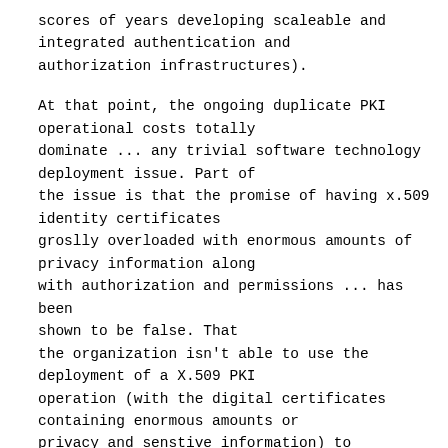scores of years developing scaleable and integrated authentication and authorization infrastructures).
At that point, the ongoing duplicate PKI operational costs totally dominate ... any trivial software technology deployment issue. Part of the issue is that the promise of having x.509 identity certificates groslly overloaded with enormous amounts of privacy information along with authorization and permissions ... has been shown to be false. That the organization isn't able to use the deployment of a X.509 PKI operation (with the digital certificates containing enormous amounts or privacy and senstive information) to eliminate their existing integrated relationship management and administrative infrastructure costs ... it possible turns out to be possibly doubling the